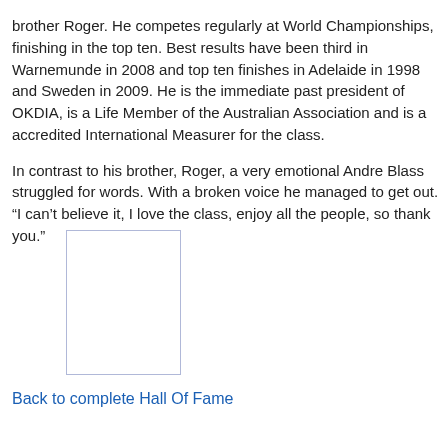brother Roger. He competes regularly at World Championships, finishing in the top ten. Best results have been third in Warnemunde in 2008 and top ten finishes in Adelaide in 1998 and Sweden in 2009. He is the immediate past president of OKDIA, is a Life Member of the Australian Association and is a accredited International Measurer for the class.
In contrast to his brother, Roger, a very emotional Andre Blass struggled for words. With a broken voice he managed to get out. "I can't believe it, I love the class, enjoy all the people, so thank you."
[Figure (photo): A placeholder image box with a light blue/grey border, no content visible.]
Back to complete Hall Of Fame